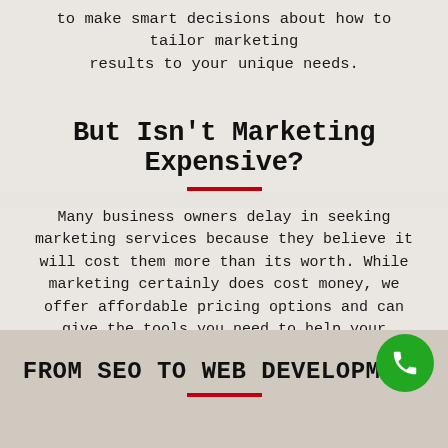to make smart decisions about how to tailor marketing results to your unique needs.
But Isn't Marketing Expensive?
Many business owners delay in seeking marketing services because they believe it will cost them more than its worth. While marketing certainly does cost money, we offer affordable pricing options and can give the tools you need to help your business increase profits. We believe that marketing is an investment well made. If you are worried about costs, call us today to talk business and see what we can do.
FROM SEO TO WEB DEVELOPMENT